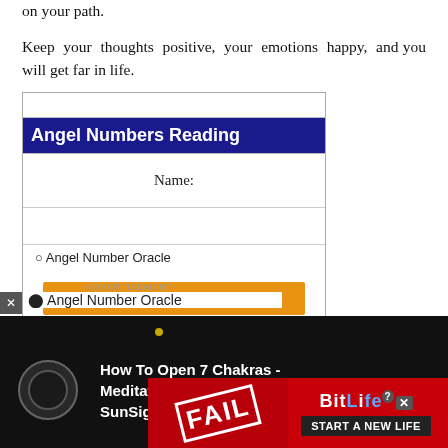on your path.
Keep your thoughts positive, your emotions happy, and you will get far in life.
[Figure (screenshot): Angel Numbers Reading widget showing a form with a dark blue title bar reading 'Angel Numbers Reading', a Name: field, empty row, and partially visible checkbox option 'Angel Number Oracle'. An advertisement overlay with video ad for 'How To Open 7 Chakras - Meditation and Healing - SunSigns.Org' overlays the bottom portion.]
229
[Figure (screenshot): BitLife advertisement banner with 'FAIL' text on red background, character illustration, and 'START A NEW LIFE' call to action. Also shows BitLife logo with question mark and X button.]